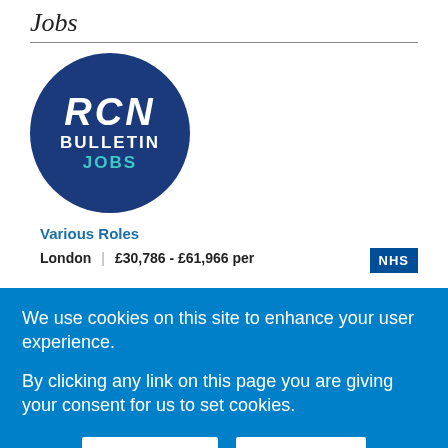Jobs
[Figure (logo): RCN Bulletin Jobs circular logo — dark blue circle with 'RCN' in white italic bold letters, 'BULLETIN' in white bold, 'JOBS' in teal/cyan bold]
Various Roles
London | £30,786 - £61,966 per
[Figure (logo): NHS logo — blue rectangle with white text 'NHS']
We use cookies on this site to enhance your user experience.

By clicking any link on this page you are giving your consent for us to set cookies.
Ok, I Agree
More Info